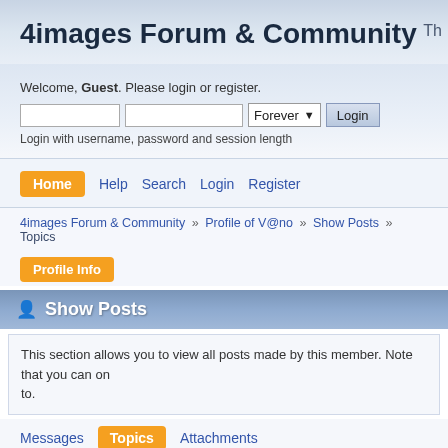4images Forum & Community
Welcome, Guest. Please login or register.
Login with username, password and session length
Home  Help  Search  Login  Register
4images Forum & Community » Profile of V@no » Show Posts » Topics
Profile Info
Show Posts
This section allows you to view all posts made by this member. Note that you can only see posts made in areas you currently have access to.
Messages  Topics  Attachments
Topics V@no